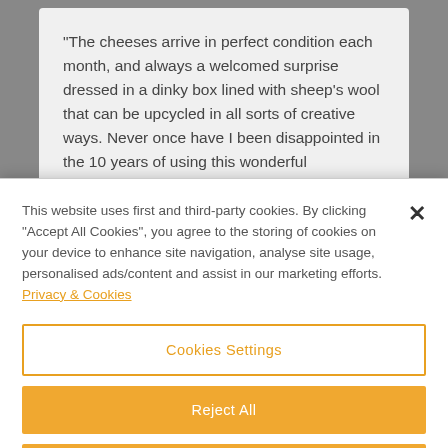"The cheeses arrive in perfect condition each month, and always a welcomed surprise dressed in a dinky box lined with sheep's wool that can be upcycled in all sorts of creative ways. Never once have I been disappointed in the 10 years of using this wonderful
This website uses first and third-party cookies. By clicking "Accept All Cookies", you agree to the storing of cookies on your device to enhance site navigation, analyse site usage, personalised ads/content and assist in our marketing efforts. Privacy & Cookies